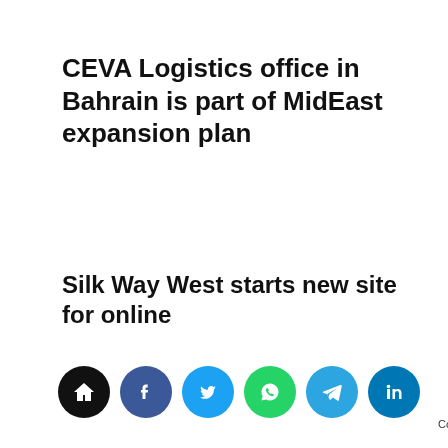CEVA Logistics office in Bahrain is part of MidEast expansion plan
Silk Way West starts new site for online